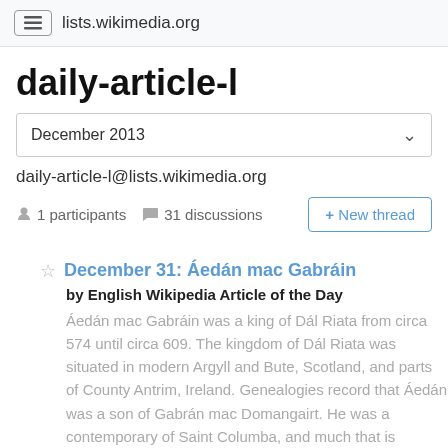lists.wikimedia.org
daily-article-l
December 2013
daily-article-l@lists.wikimedia.org
1 participants   31 discussions
+ New thread
December 31: Áedán mac Gabráin
by English Wikipedia Article of the Day
Áedán mac Gabráin was a king of Dál Riata from circa 574 until circa 609. The kingdom of Dál Riata was situated in modern Argyll and Bute, Scotland, and parts of County Antrim, Ireland. Genealogies record that Áedán was a son of Gabrán mac Domangairt. He was a contemporary of Saint Columba, and much that is recorded of his life comes from hagiography such as Adomnán of